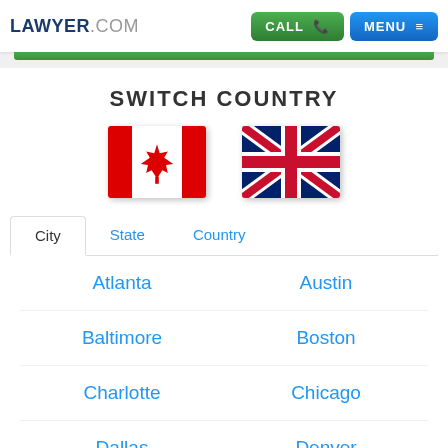LAWYER.COM — CALL | MENU
SWITCH COUNTRY
[Figure (illustration): Canadian flag and UK (Union Jack) flag side by side for country selection]
City | State | Country tabs
Atlanta
Austin
Baltimore
Boston
Charlotte
Chicago
Dallas
Denver
Detroit
Houston